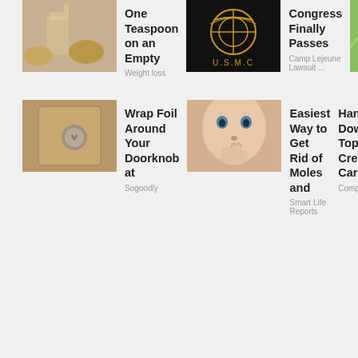[Figure (photo): Glass being poured with liquid and seeds/grains on a dark surface]
One Teaspoon on an Empty
Weight loss
[Figure (photo): USMC logo on black background]
Congress Finally Passes
Camp Lejeune Lawsuit ...
[Figure (photo): Close-up of green plant with serrated edges]
Type 2 Diabetes? Eat This
Growthmax
[Figure (photo): Doorknob with heart-shaped handle on wooden door]
Wrap Foil Around Your Doorknob at
Sogoodly
[Figure (photo): Young woman touching her lip/nose area]
Easiest Way to Get Rid of Moles and
Smart Life Reports
Hands Down the Top Credit Card
CompareCredit